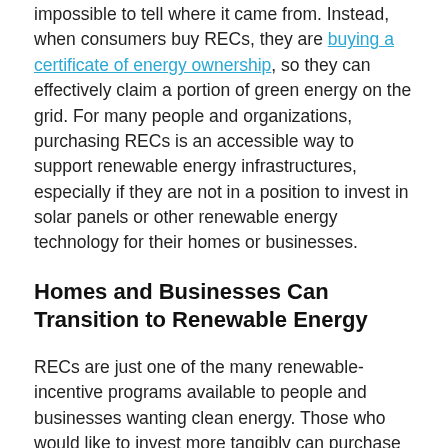impossible to tell where it came from. Instead, when consumers buy RECs, they are buying a certificate of energy ownership, so they can effectively claim a portion of green energy on the grid. For many people and organizations, purchasing RECs is an accessible way to support renewable energy infrastructures, especially if they are not in a position to invest in solar panels or other renewable energy technology for their homes or businesses.
Homes and Businesses Can Transition to Renewable Energy
RECs are just one of the many renewable-incentive programs available to people and businesses wanting clean energy. Those who would like to invest more tangibly can purchase renewable energy technology, lease the tech, or opt for a power purchase agreement (PPA).